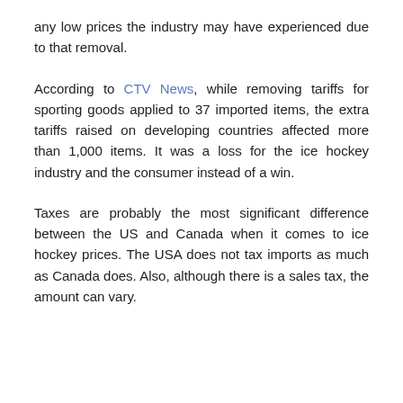any low prices the industry may have experienced due to that removal.
According to CTV News, while removing tariffs for sporting goods applied to 37 imported items, the extra tariffs raised on developing countries affected more than 1,000 items. It was a loss for the ice hockey industry and the consumer instead of a win.
Taxes are probably the most significant difference between the US and Canada when it comes to ice hockey prices. The USA does not tax imports as much as Canada does. Also, although there is a sales tax, the amount can vary.